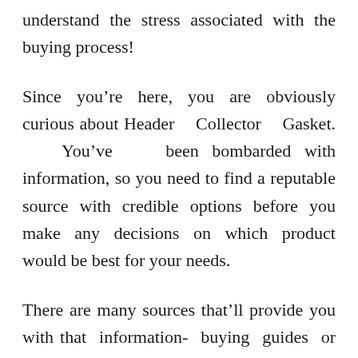understand the stress associated with the buying process!
Since you’re here, you are obviously curious about Header Collector Gasket. You’ve been bombarded with information, so you need to find a reputable source with credible options before you make any decisions on which product would be best for your needs.
There are many sources that’ll provide you with that information- buying guides or ratings websites, word-of-mouth testimonials from friends or family members, online forums where users share their personal experiences, product reviews specifically found all over the internet